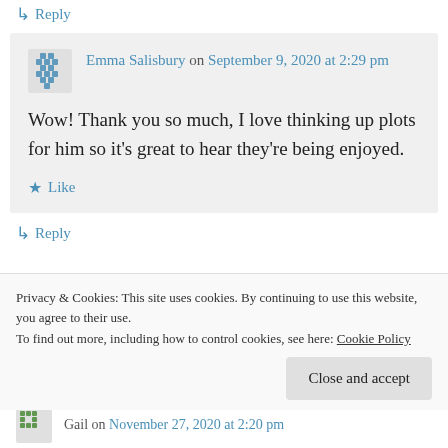↳ Reply
Emma Salisbury on September 9, 2020 at 2:29 pm
Wow! Thank you so much, I love thinking up plots for him so it's great to hear they're being enjoyed.
★ Like
↳ Reply
Privacy & Cookies: This site uses cookies. By continuing to use this website, you agree to their use.
To find out more, including how to control cookies, see here: Cookie Policy
Close and accept
Gail on November 27, 2020 at 2:20 pm